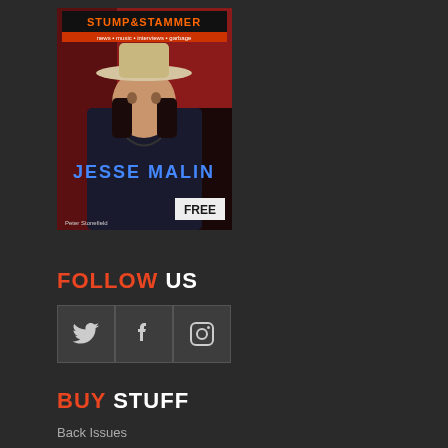[Figure (photo): Stump & Stammer magazine cover featuring Jesse Malin, a musician wearing a hat and leather jacket, photographed by Peter Stonefield. The cover shows the magazine logo at the top and 'JESSE MALIN' text overlay, with a FREE label in the corner.]
FOLLOW US
[Figure (infographic): Three social media icons in dark grey square boxes: Twitter bird icon, Facebook f icon, and Instagram camera icon]
BUY STUFF
Back Issues